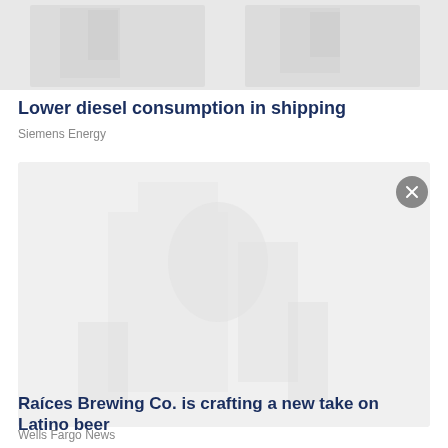[Figure (photo): Partial photo visible at top of page, appears to show two people, heavily washed out/light]
Lower diesel consumption in shipping
Siemens Energy
[Figure (photo): Photo of a person wearing glasses, standing outdoors, image washed out/light, with a close button in top right corner]
Raíces Brewing Co. is crafting a new take on Latino beer
Wells Fargo News